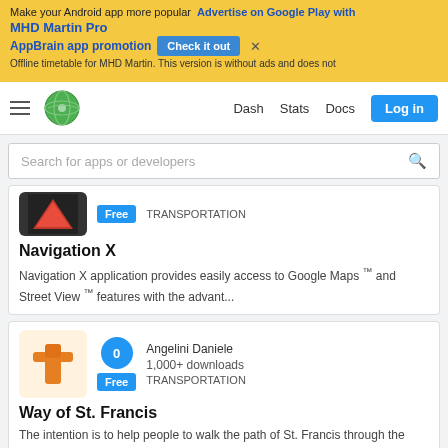[Figure (screenshot): Ad banner for AppBrain app promotion with yellow background, showing 'Make your Android app more popular', 'Advertise on Google Play with MHD Martin Pro AppBrain app promotion', 'Check it out' button, and 'Offline timetable for MHD Martin. This version is without ads and does not' text]
[Figure (screenshot): Navigation bar with hamburger menu, globe logo, Dash, Stats, Docs links and Log in button]
[Figure (screenshot): Search bar with placeholder 'Search for apps or developers']
TRANSPORTATION
Navigation X
Navigation X application provides easily access to Google Maps ™ and Street View ™ features with the advant...
Angelini Daniele
1,000+ downloads
TRANSPORTATION
Way of St. Francis
The intention is to help people to walk the path of St. Francis through the GPS location and points of interest to be d...
Axel Pauli
10,000+ downloads
TRANSPORTATION